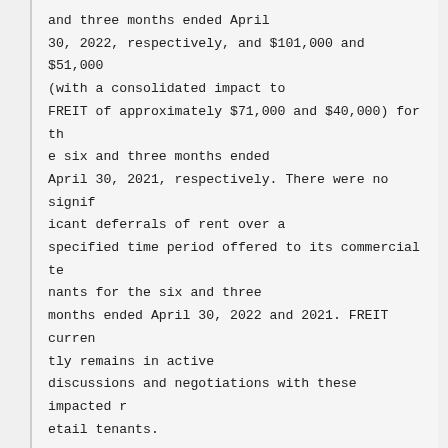and three months ended April 30, 2022, respectively, and $101,000 and $51,000 (with a consolidated impact to FREIT of approximately $71,000 and $40,000) for the six and three months ended April 30, 2021, respectively. There were no significant deferrals of rent over a specified time period offered to its commercial tenants for the six and three months ended April 30, 2022 and 2021. FREIT currently remains in active discussions and negotiations with these impacted retail tenants.

For the six months ended April 30, 2022, we have experienced a positive cash flow from operations with cash provided by operati